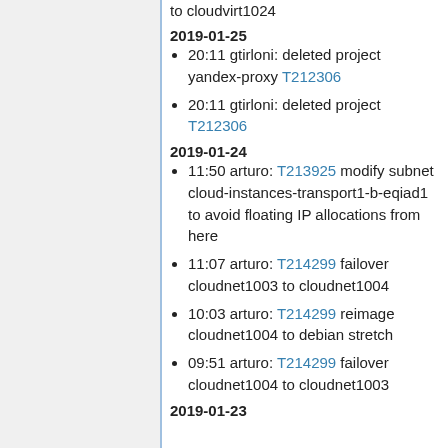to cloudvirt1024
2019-01-25
20:11 gtirloni: deleted project yandex-proxy T212306
20:11 gtirloni: deleted project T212306
2019-01-24
11:50 arturo: T213925 modify subnet cloud-instances-transport1-b-eqiad1 to avoid floating IP allocations from here
11:07 arturo: T214299 failover cloudnet1003 to cloudnet1004
10:03 arturo: T214299 reimage cloudnet1004 to debian stretch
09:51 arturo: T214299 failover cloudnet1004 to cloudnet1003
2019-01-23